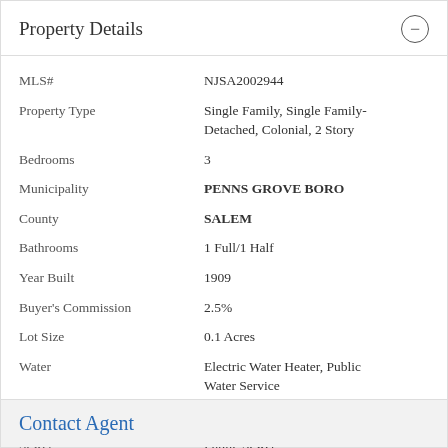Property Details
| Field | Value |
| --- | --- |
| MLS# | NJSA2002944 |
| Property Type | Single Family, Single Family-Detached, Colonial, 2 Story |
| Bedrooms | 3 |
| Municipality | PENNS GROVE BORO |
| County | SALEM |
| Bathrooms | 1 Full/1 Half |
| Year Built | 1909 |
| Buyer's Commission | 2.5% |
| Lot Size | 0.1 Acres |
| Water | Electric Water Heater, Public Water Service |
| Construction | Aluminum Siding |
| Sewer | Public Sewer |
Contact Agent